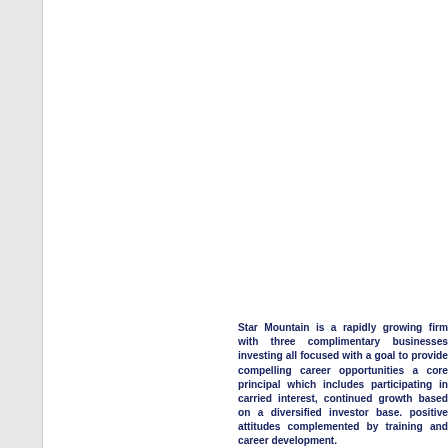Star Mountain is a rapidly growing firm with three complimentary businesses investing all focused with a goal to provide compelling career opportunities a core principal which includes participating in carried interest, continued growth based on a diversified investor base. positive attitudes complemented by training and career development.